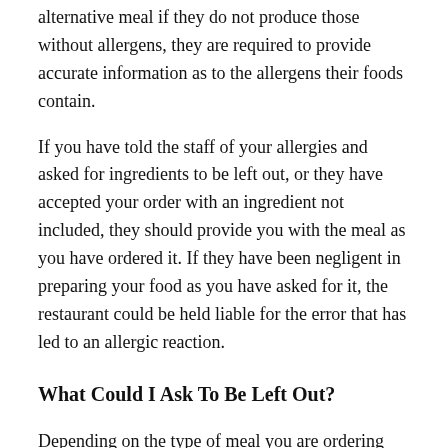alternative meal if they do not produce those without allergens, they are required to provide accurate information as to the allergens their foods contain.
If you have told the staff of your allergies and asked for ingredients to be left out, or they have accepted your order with an ingredient not included, they should provide you with the meal as you have ordered it. If they have been negligent in preparing your food as you have asked for it, the restaurant could be held liable for the error that has led to an allergic reaction.
What Could I Ask To Be Left Out?
Depending on the type of meal you are ordering you may request:
No Milk or Cheese – If you have dairy allergies